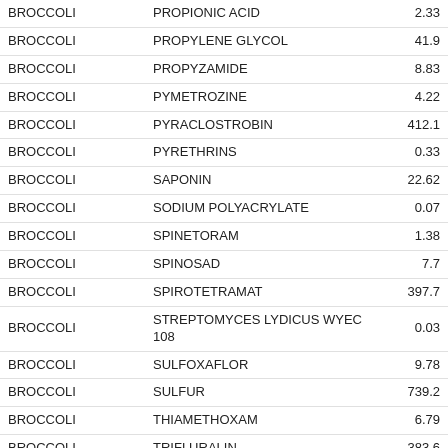| Crop | Chemical | Value |
| --- | --- | --- |
| BROCCOLI | PROPIONIC ACID | 2.33 |
| BROCCOLI | PROPYLENE GLYCOL | 41.9 |
| BROCCOLI | PROPYZAMIDE | 8.83 |
| BROCCOLI | PYMETROZINE | 4.22 |
| BROCCOLI | PYRACLOSTROBIN | 412.1 |
| BROCCOLI | PYRETHRINS | 0.33 |
| BROCCOLI | SAPONIN | 22.62 |
| BROCCOLI | SODIUM POLYACRYLATE | 0.07 |
| BROCCOLI | SPINETORAM | 1.38 |
| BROCCOLI | SPINOSAD | 7.7 |
| BROCCOLI | SPIROTETRAMAT | 397.7 |
| BROCCOLI | STREPTOMYCES LYDICUS WYEC 108 | 0.03 |
| BROCCOLI | SULFOXAFLOR | 9.78 |
| BROCCOLI | SULFUR | 739.2 |
| BROCCOLI | THIAMETHOXAM | 6.79 |
| BROCCOLI | TRIFLURALIN | 383.6 |
| BROCCOLI | ALPHA-2,6,8-TRIMETHYL-4-NONYLOXY-OMEGA-HYDROXYPOLY(OXYETHYLENE) | 153.6 |
| BROCCOLI | ALPHA-UNDECYL-OMEGA-HYDROXYPOLY(OXYETHYLENE) | 59.94 |